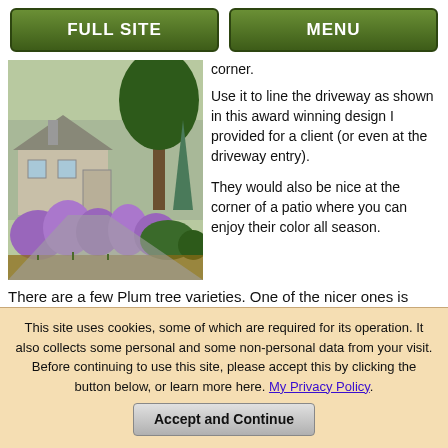FULL SITE | MENU
corner.
[Figure (photo): Garden landscape with purple flowering plants lining a driveway, green shrubs, large tree, and house in background]
Use it to line the driveway as shown in this award winning design I provided for a client (or even at the driveway entry).
They would also be nice at the corner of a patio where you can enjoy their color all season.
There are a few Plum tree varieties. One of the nicer ones is Newport Plum.
To further help you with information on trees, get my FREE ebook Trees For Landscaping
[Figure (photo): Trees with green and reddish foliage in a landscaped setting]
This site uses cookies, some of which are required for its operation. It also collects some personal and some non-personal data from your visit. Before continuing to use this site, please accept this by clicking the button below, or learn more here. My Privacy Policy.
Accept and Continue